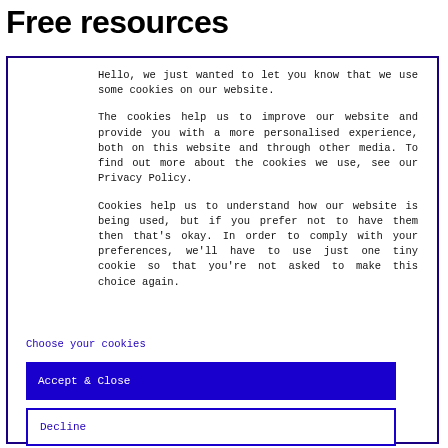Free resources
Hello, we just wanted to let you know that we use some cookies on our website.
The cookies help us to improve our website and provide you with a more personalised experience, both on this website and through other media. To find out more about the cookies we use, see our Privacy Policy.
Cookies help us to understand how our website is being used, but if you prefer not to have them then that's okay. In order to comply with your preferences, we'll have to use just one tiny cookie so that you're not asked to make this choice again.
Choose your cookies
Accept & Close
Decline